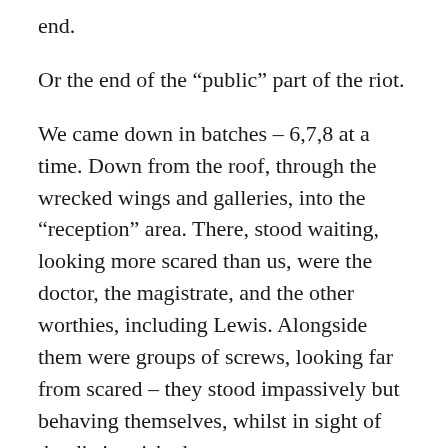end.
Or the end of the “public” part of the riot.
We came down in batches – 6,7,8 at a time. Down from the roof, through the wrecked wings and galleries, into the “reception” area. There, stood waiting, looking more scared than us, were the doctor, the magistrate, and the other worthies, including Lewis. Alongside them were groups of screws, looking far from scared – they stood impassively but behaving themselves, whilst in sight of the distinguished guests.
This operation took most of the day, it was about 3 pm when the last batch – you probably saw in the papers the singing of “Auld Lang Syne” – were ‘processed’. We’d arranged a signal system, so that the first batches could signal up to those still on the roof, as they were